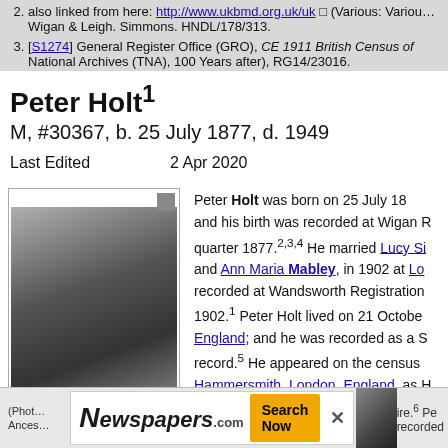also linked from here: http://www.ukbmd.org.uk/ (Various: Various Wigan & Leigh. Simmons. HNDL/178/313.
[S1274] General Register Office (GRO), CE 1911 British Census of National Archives (TNA), 100 Years after), RG14/23016.
Peter Holt¹
M, #30367, b. 25 July 1877, d. 1949
Last Edited    2 Apr 2020
[Figure (photo): Black and white photograph of Peter Holt, 1949. Caption reads: Pete4r Holt 1949. Also shows partial caption: (Photo... Ances...]
Peter Holt was born on 25 July 18 and his birth was recorded at Wigan quarter 1877.²₃⁴ He married Lucy Si and Ann Maria Mabley, in 1902 at Lo recorded at Wandsworth Registration 1902.¹ Peter Holt lived on 21 Octobe England; and he was recorded as a S record.⁵ He appeared on the census Hammersmith, London, England, as Hindley, Lancashire, and he was a Ge the household.² He and Lucy Simmo Hammersmith, London, England; whe ire.⁶ Pe recorded
Newspapers.com — Search Now